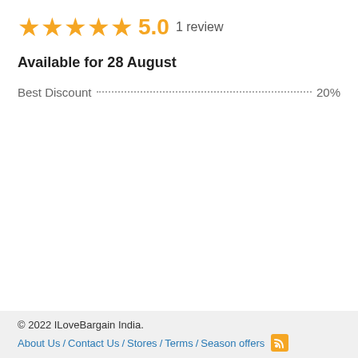[Figure (other): Five orange star rating icons with score 5.0 and '1 review' text]
Available for 28 August
Best Discount  20%
© 2022 ILoveBargain India. About Us / Contact Us / Stores / Terms / Season offers